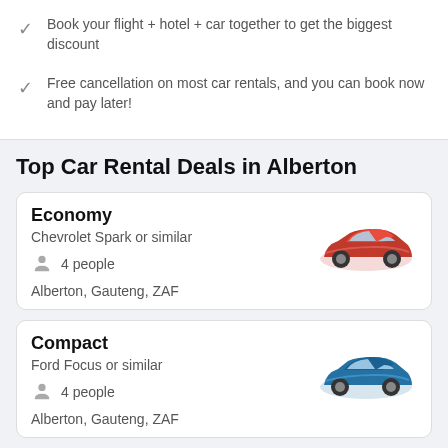Book your flight + hotel + car together to get the biggest discount
Free cancellation on most car rentals, and you can book now and pay later!
Top Car Rental Deals in Alberton
Economy
Chevrolet Spark or similar
4 people
Alberton, Gauteng, ZAF
Compact
Ford Focus or similar
4 people
Alberton, Gauteng, ZAF